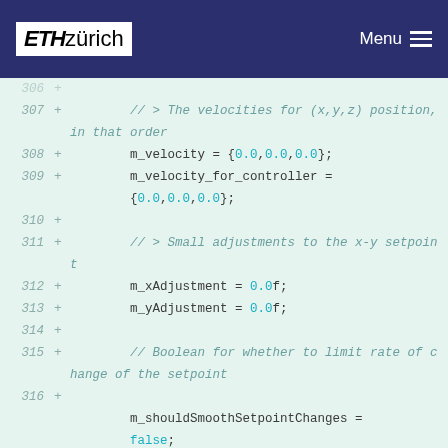ETH zürich  Menu
[Figure (screenshot): Code diff view showing lines 306-320 of a C++ file with added lines (marked with +) containing velocity, adjustment, and position variable initializations]